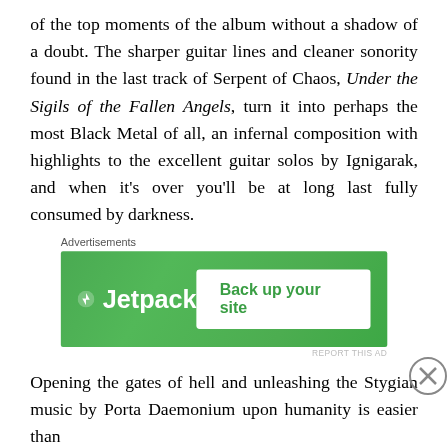of the top moments of the album without a shadow of a doubt. The sharper guitar lines and cleaner sonority found in the last track of Serpent of Chaos, Under the Sigils of the Fallen Angels, turn it into perhaps the most Black Metal of all, an infernal composition with highlights to the excellent guitar solos by Ignigarak, and when it's over you'll be at long last fully consumed by darkness.
Advertisements
[Figure (screenshot): Jetpack advertisement banner with green gradient background. Shows Jetpack logo on left and 'Back up your site' button on right.]
Opening the gates of hell and unleashing the Stygian music by Porta Daemonium upon humanity is easier than
Advertisements
[Figure (screenshot): Seamless food delivery advertisement. Shows pizza image on left, Seamless logo in middle, and ORDER NOW button on right on dark background.]